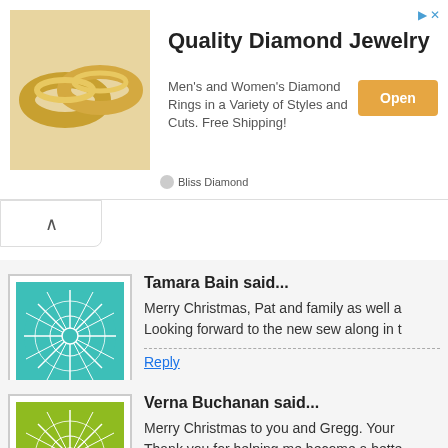[Figure (screenshot): Ad banner for Quality Diamond Jewelry by Bliss Diamond with gold rings image and Open button]
Quality Diamond Jewelry
Men's and Women's Diamond Rings in a Variety of Styles and Cuts. Free Shipping!
Bliss Diamond
Tamara Bain said...
Merry Christmas, Pat and family as well a... Looking forward to the new sew along in t...
Reply
Verna Buchanan said...
Merry Christmas to you and Gregg. Your... Thank you for helping me become a bette...
Reply